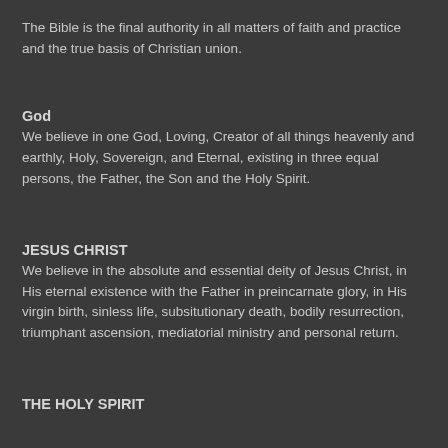The Bible is the final authority in all matters of faith and practice and the true basis of Christian union.
God
We believe in one God, Loving, Creator of all things heavenly and earthly, Holy, Sovereign, and Eternal, existing in three equal persons, the Father, the Son and the Holy Spirit.
JESUS CHRIST
We believe in the absolute and essential deity of Jesus Christ, in His eternal existence with the Father in preincarnate glory, in His virgin birth, sinless life, subsitutionary death, bodily resurrection, triumphant ascension, mediatorial ministry and personal return.
THE HOLY SPIRIT